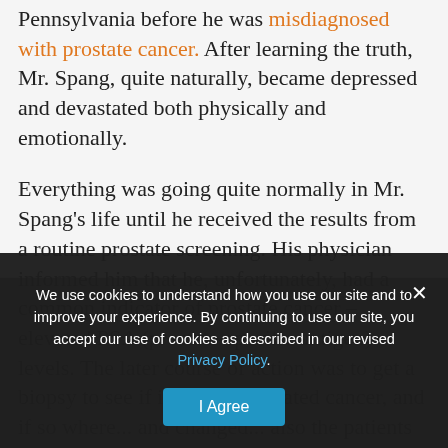Pennsylvania before he was misdiagnosed with prostate cancer. After learning the truth, Mr. Spang, quite naturally, became depressed and devastated both physically and emotionally.
Everything was going quite normally in Mr. Spang's life until he received the results from a routine prostate screening. His physician informed him that he, unfortunately, had a common indicator of prostate cancer – elevated PSA (prostate-specific antigen) levels. The later course of action was to get a biopsy to see if it indeed indicated cancer, and if so where... also the patients and their families.
Mr. Spang got the biopsy result back – it was positive. The physicians...
We use cookies to understand how you use our site and to improve your experience. By continuing to use our site, you accept our use of cookies as described in our revised Privacy Policy.